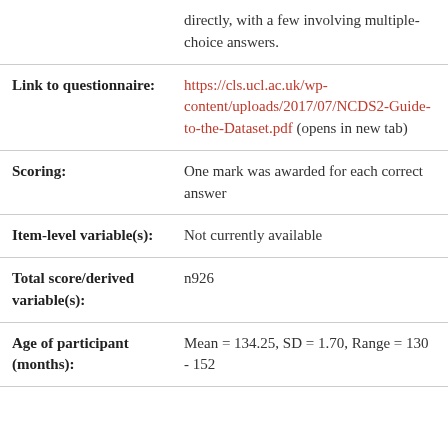| Field | Value |
| --- | --- |
|  | directly, with a few involving multiple-choice answers. |
| Link to questionnaire: | https://cls.ucl.ac.uk/wp-content/uploads/2017/07/NCDS2-Guide-to-the-Dataset.pdf (opens in new tab) |
| Scoring: | One mark was awarded for each correct answer |
| Item-level variable(s): | Not currently available |
| Total score/derived variable(s): | n926 |
| Age of participant (months): | Mean = 134.25, SD = 1.70, Range = 130 - 152 |